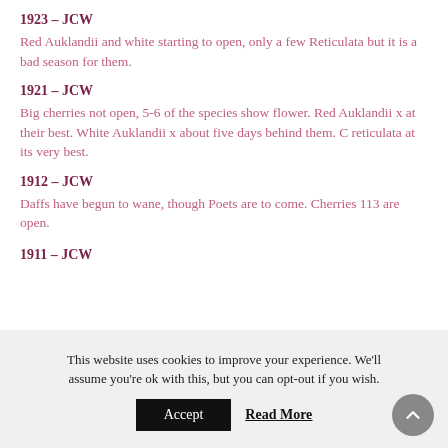1923 – JCW
Red Auklandii and white starting to open, only a few Reticulata but it is a bad season for them.
1921 – JCW
Big cherries not open, 5-6 of the species show flower. Red Auklandii x at their best. White Auklandii x about five days behind them. C reticulata at its very best.
1912 – JCW
Daffs have begun to wane, though Poets are to come. Cherries 113 are open.
1911 – JCW
This website uses cookies to improve your experience. We'll assume you're ok with this, but you can opt-out if you wish.